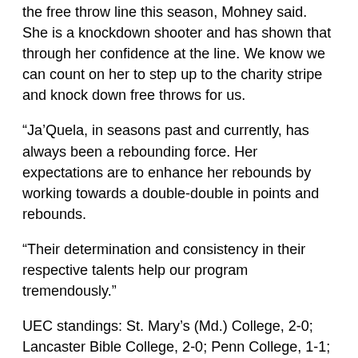the free throw line this season, Mohney said. She is a knockdown shooter and has shown that through her confidence at the line. We know we can count on her to step up to the charity stripe and knock down free throws for us.
“Ja’Quela, in seasons past and currently, has always been a rebounding force. Her expectations are to enhance her rebounds by working towards a double-double in points and rebounds.
“Their determination and consistency in their respective talents help our program tremendously.”
UEC standings: St. Mary’s (Md.) College, 2-0; Lancaster Bible College, 2-0; Penn College, 1-1; Gallaudet University, 1-1; Penn State Harrisburg, 1-1; Morrisville State College, 1-1; Penn State Abington, 0-0; Wells College, 0-2; Penn State Berks, 0-2.
Wrestling